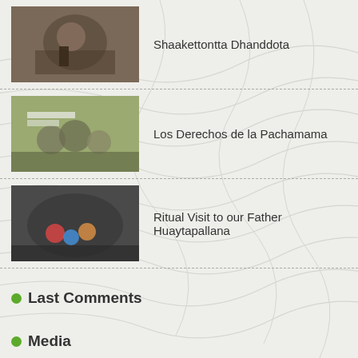Shaakettontta Dhanddota
Los Derechos de la Pachamama
Ritual Visit to our Father Huaytapallana
Last Comments
Media
Photo stories
Video stories
Stories Maps